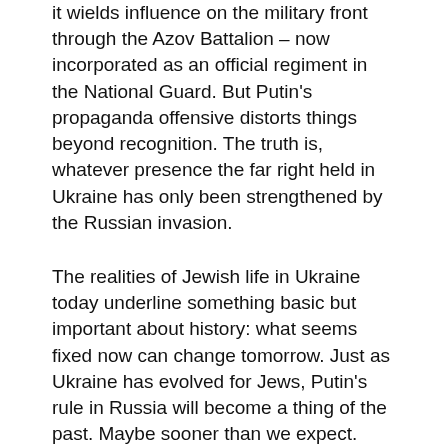it wields influence on the military front through the Azov Battalion – now incorporated as an official regiment in the National Guard. But Putin's propaganda offensive distorts things beyond recognition. The truth is, whatever presence the far right held in Ukraine has only been strengthened by the Russian invasion.
The realities of Jewish life in Ukraine today underline something basic but important about history: what seems fixed now can change tomorrow. Just as Ukraine has evolved for Jews, Putin's rule in Russia will become a thing of the past. Maybe sooner than we expect.
But the war has also brought into view the complexities of history, including diasporic understandings of the Jewish Ukrainian past. There are limitations to the version of Jewish history that presents a teleology of violence, a tale of the 'longest hatred'. Seen from a